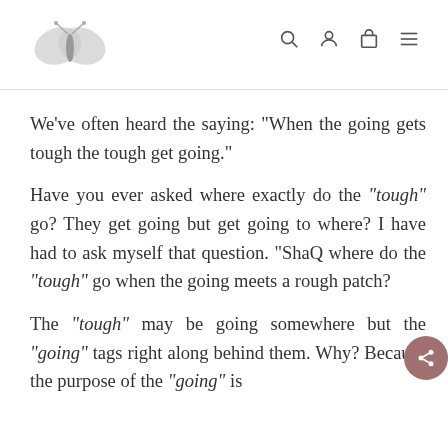[Butterfly logo] [search icon] [user icon] [bag icon] [menu icon]
We've often heard the saying: "When the going gets tough the tough get going."
Have you ever asked where exactly do the “tough” go? They get going but get going to where? I have had to ask myself that question. “ShaQ where do the “tough” go when the going meets a rough patch?
The “tough” may be going somewhere but the “going” tags right along behind them. Why? Because the purpose of the “going” is